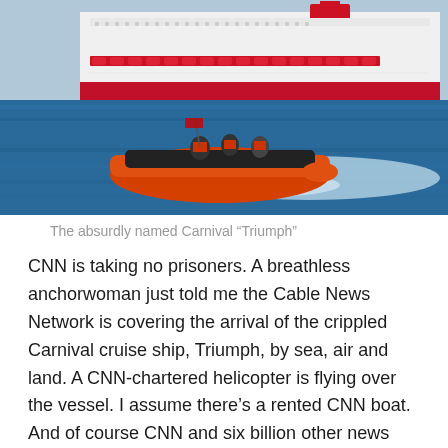[Figure (photo): A Coast Guard orange inflatable boat speeding across blue ocean water with crew members aboard, and a large white Carnival cruise ship (Triumph) visible in the background.]
The absurdly named Carnival “Triumph”
CNN is taking no prisoners. A breathless anchorwoman just told me the Cable News Network is covering the arrival of the crippled Carnival cruise ship, Triumph, by sea, air and land. A CNN-chartered helicopter is flying over the vessel. I assume there’s a rented CNN boat. And of course CNN and six billion other news organizations will be awaiting the poor passengers when the cruise from hell finally comes to an end in Mobile, Alabama.
Imagine surviving the heat, the cold, the darkness, the